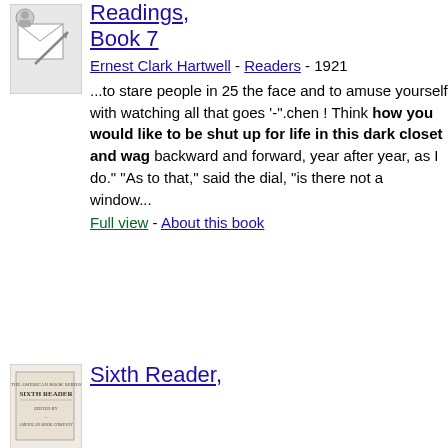[Figure (illustration): Small thumbnail image of a book cover for readings Book 7]
Readings, Book 7
Ernest Clark Hartwell - Readers - 1921
...to stare people in 25 the face and to amuse yourself with watching all that goes '-".chen ! Think how you would like to be shut up for life in this dark closet and wag backward and forward, year after year, as I do." "As to that," said the dial, "is there not a window...
Full view - About this book
[Figure (illustration): Small thumbnail image of a book cover for Sixth Reader]
Sixth Reader,